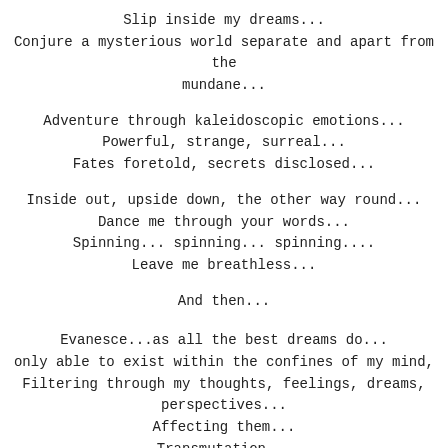Slip inside my dreams...
Conjure a mysterious world separate and apart from the mundane...
Adventure through kaleidoscopic emotions...
Powerful, strange, surreal...
Fates foretold, secrets disclosed...
Inside out, upside down, the other way round...
Dance me through your words...
Spinning... spinning... spinning....
Leave me breathless...
And then...
Evanesce...as all the best dreams do...
only able to exist within the confines of my mind,
Filtering through my thoughts, feelings, dreams,
perspectives...
Affecting them...
Transmutation...
As your locution becomes...